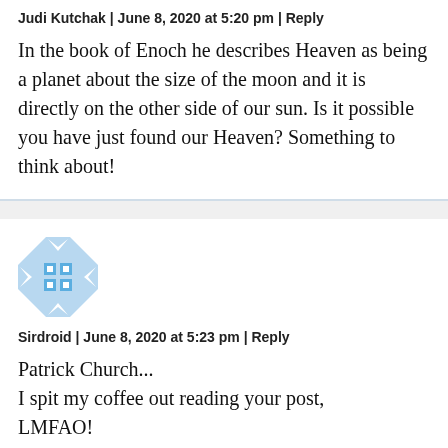Judi Kutchak | June 8, 2020 at 5:20 pm | Reply
In the book of Enoch he describes Heaven as being a planet about the size of the moon and it is directly on the other side of our sun. Is it possible you have just found our Heaven? Something to think about!
[Figure (illustration): Blue and white geometric avatar icon with arrow/chevron pattern and grid of squares]
Sirdroid | June 8, 2020 at 5:23 pm | Reply
Patrick Church...
I spit my coffee out reading your post, LMFAO!